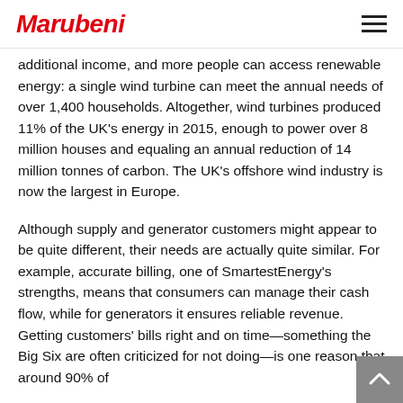Marubeni
additional income, and more people can access renewable energy: a single wind turbine can meet the annual needs of over 1,400 households. Altogether, wind turbines produced 11% of the UK's energy in 2015, enough to power over 8 million houses and equaling an annual reduction of 14 million tonnes of carbon. The UK's offshore wind industry is now the largest in Europe.
Although supply and generator customers might appear to be quite different, their needs are actually quite similar. For example, accurate billing, one of SmartestEnergy's strengths, means that consumers can manage their cash flow, while for generators it ensures reliable revenue. Getting customers' bills right and on time—something the Big Six are often criticized for not doing—is one reason that around 90% of